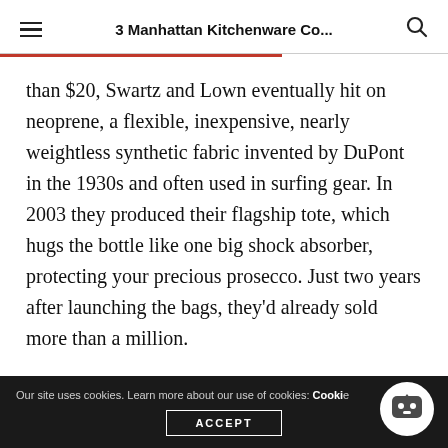3 Manhattan Kitchenware Co...
than $20, Swartz and Lown eventually hit on neoprene, a flexible, inexpensive, nearly weightless synthetic fabric invented by DuPont in the 1930s and often used in surfing gear. In 2003 they produced their flagship tote, which hugs the bottle like one big shock absorber, protecting your precious prosecco. Just two years after launching the bags, they'd already sold more than a million.
Our site uses cookies. Learn more about our use of cookies: Cookie  ACCEPT